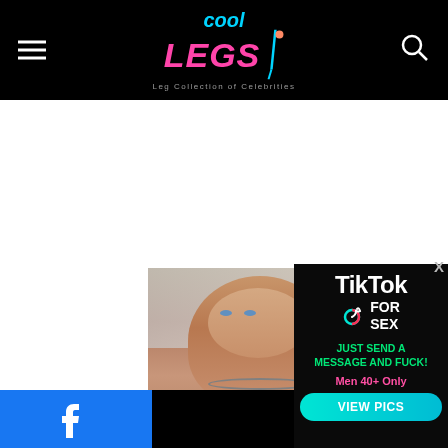Cool Legs — Leg Collection of Celebrities
[Figure (photo): Website header with Cool Legs logo, hamburger menu icon on left, search icon on right, black background]
[Figure (photo): Photo of a woman with brown hair and blue eyes wearing a necklace, upper body visible]
[Figure (advertisement): TikTok for Sex advertisement overlay with text: TikTok FOR SEX, JUST SEND A MESSAGE AND FUCK!, Men 40+ Only, VIEW PICS button]
[Figure (logo): Facebook logo (white F on blue background) in bottom left corner]